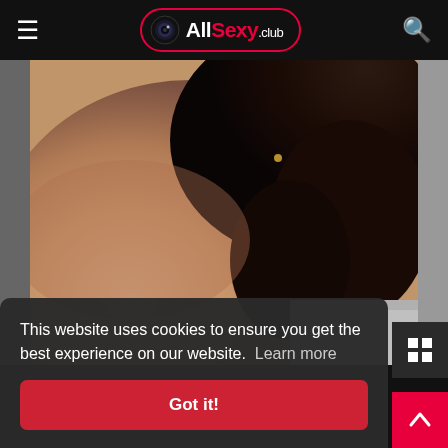AllSexy.club
[Figure (photo): Close-up photo of a person with dark curly hair and an earring, wearing a gray top]
This website uses cookies to ensure you get the best experience on our website.  Learn more
Got it!